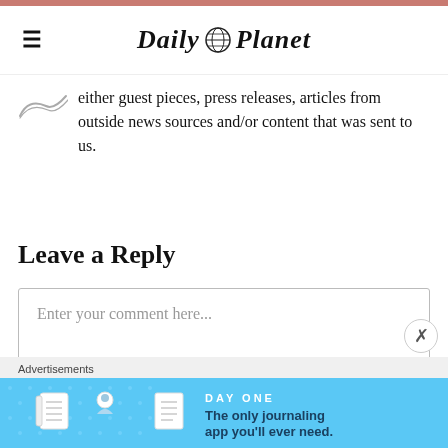Daily Planet
either guest pieces, press releases, articles from outside news sources and/or content that was sent to us.
Leave a Reply
Enter your comment here...
Advertisements
[Figure (screenshot): DAY ONE journaling app advertisement banner. Text reads: 'The only journaling app you'll ever need.' with cartoon icons of a notebook, a person, and a document.]